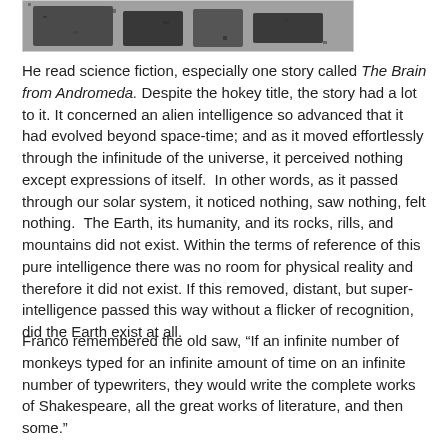[Figure (photo): Partial black and white photograph visible at top of page, showing figures outdoors.]
He read science fiction, especially one story called The Brain from Andromeda. Despite the hokey title, the story had a lot to it. It concerned an alien intelligence so advanced that it had evolved beyond space-time; and as it moved effortlessly through the infinitude of the universe, it perceived nothing except expressions of itself.  In other words, as it passed through our solar system, it noticed nothing, saw nothing, felt nothing.  The Earth, its humanity, and its rocks, rills, and mountains did not exist. Within the terms of reference of this pure intelligence there was no room for physical reality and therefore it did not exist. If this removed, distant, but super-intelligence passed this way without a flicker of recognition, did the Earth exist at all.
Franco remembered the old saw, “If an infinite number of monkeys typed for an infinite amount of time on an infinite number of typewriters, they would write the complete works of Shakespeare, all the great works of literature, and then some.”